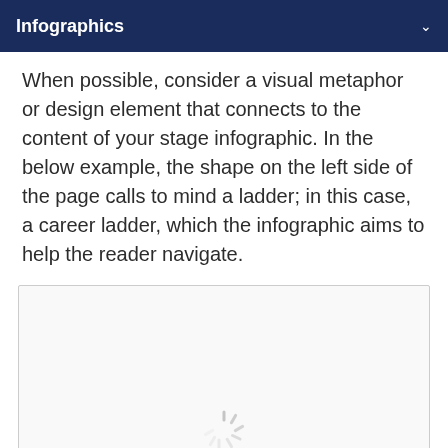Infographics
When possible, consider a visual metaphor or design element that connects to the content of your stage infographic. In the below example, the shape on the left side of the page calls to mind a ladder; in this case, a career ladder, which the infographic aims to help the reader navigate.
[Figure (other): Loading spinner placeholder indicating an image (infographic example) is loading]